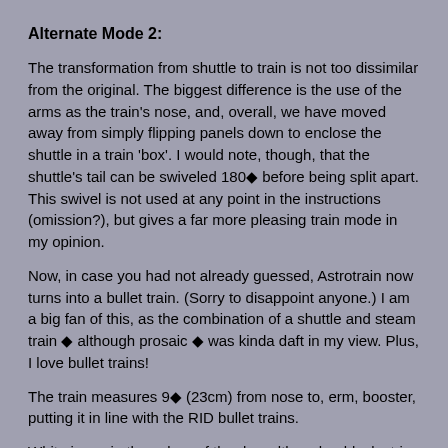Alternate Mode 2:
The transformation from shuttle to train is not too dissimilar from the original. The biggest difference is the use of the arms as the train's nose, and, overall, we have moved away from simply flipping panels down to enclose the shuttle in a train 'box'. I would note, though, that the shuttle's tail can be swiveled 180◆ before being split apart. This swivel is not used at any point in the instructions (omission?), but gives a far more pleasing train mode in my opinion.
Now, in case you had not already guessed, Astrotrain now turns into a bullet train. (Sorry to disappoint anyone.) I am a big fan of this, as the combination of a shuttle and steam train ◆ although prosaic ◆ was kinda daft in my view. Plus, I love bullet trains!
The train measures 9◆ (23cm) from nose to, erm, booster, putting it in line with the RID bullet trains.
White is again the colour of the day, although a black stripe runs along the top, with a purple one underneath, then red and purple stripes along the sides. The effect is rather sleek, and enough for me to find the mode displayable. It's a nicely subtle 'evil' colouration, as opposed to a blatant dark grey or purple domination. It is unfortunate that the windows are so dark ◆ but, as mentioned previously, without this the shuttle mode would have been seriously compromised. There is also the issue of the gaping hole, through which the shuttle tail halves peek, but this is growing on me (but only with the tail rotated, as above!). Interestingly, the 'Made in' stamp is on the top of the train ◆ yet